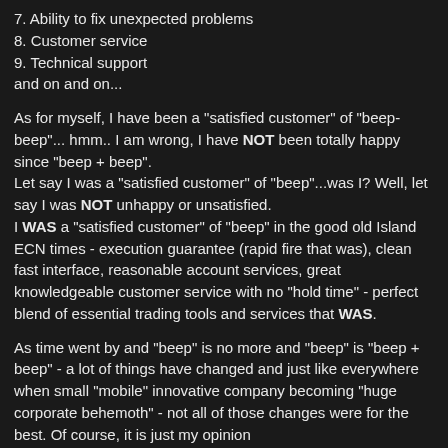7. Ability to fix unexpected problems
8. Customer service
9. Technical support
and on and on...
As for myself, I have been a "satisfied customer" of "beep-beep"... hmm.. I am wrong, I have NOT been totally happy since "beep + beep".
Let say I was a "satisfied customer" of "beep"...was I? Well, let say I was NOT unhappy or unsatisfied.
I WAS a "satisfied customer" of "beep" in the good old Island ECN times - execution guarantee (rapid fire that was), clean fast interface, reasonable account services, great knowledgeable customer service with no "hold time" - perfect blend of essential trading tools and services that WAS.
As time went by and "beep" is no more and "beep" is "beep + beep" - a lot of things have changed and just like everywhere when small "mobile" innovative company becoming "huge corporate behemoth" - not all of those changes were for the best. Of course, it is just my opinion